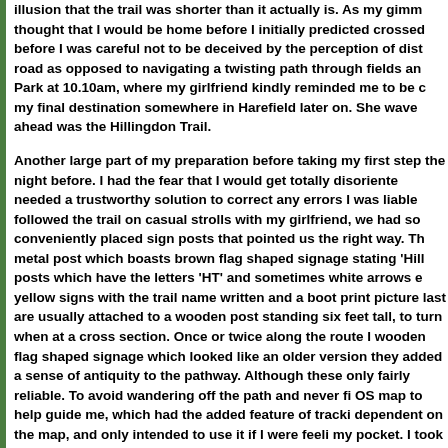illusion that the trail was shorter than it actually is. As my gimm thought that I would be home before I initially predicted crossed before I was careful not to be deceived by the perception of dist road as opposed to navigating a twisting path through fields an Park at 10.10am, where my girlfriend kindly reminded me to be c my final destination somewhere in Harefield later on. She wave ahead was the Hillingdon Trail.

Another large part of my preparation before taking my first step the night before. I had the fear that I would get totally disoriente needed a trustworthy solution to correct any errors I was liable followed the trail on casual strolls with my girlfriend, we had so conveniently placed sign posts that pointed us the right way. Th metal post which boasts brown flag shaped signage stating 'Hill posts which have the letters 'HT' and sometimes white arrows e yellow signs with the trail name written and a boot print picture last are usually attached to a wooden post standing six feet tall, to turn when at a cross section. Once or twice along the route I wooden flag shaped signage which looked like an older version they added a sense of antiquity to the pathway. Although these only fairly reliable. To avoid wandering off the path and never fi OS map to help guide me, which had the added feature of tracki dependent on the map, and only intended to use it if I were feeli my pocket. I took a deep breath and set one foot in front of the